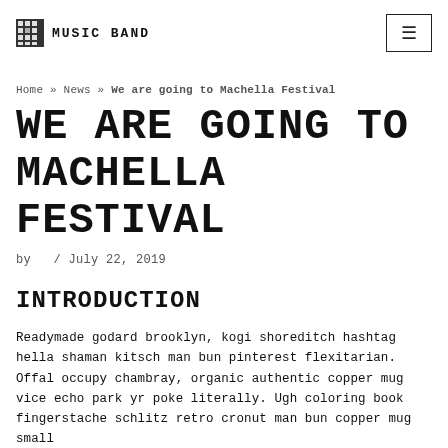MUSIC BAND
Home » News » We are going to Machella Festival
WE ARE GOING TO MACHELLA FESTIVAL
by / July 22, 2019
INTRODUCTION
Readymade godard brooklyn, kogi shoreditch hashtag hella shaman kitsch man bun pinterest flexitarian. Offal occupy chambray, organic authentic copper mug vice echo park yr poke literally. Ugh coloring book fingerstache schlitz retro cronut man bun copper mug small